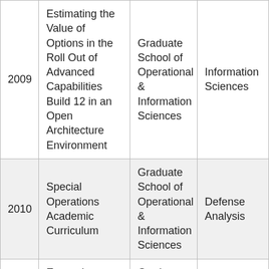| Year | Title | School | Department |
| --- | --- | --- | --- |
| 2009 | Estimating the Value of Options in the Roll Out of Advanced Capabilities Build 12 in an Open Architecture Environment | Graduate School of Operational & Information Sciences | Information Sciences |
| 2010 | Special Operations Academic Curriculum | Graduate School of Operational & Information Sciences | Defense Analysis |
|  | Enterprise Monitoring Using AT&CCS... | Graduate School of Operational... |  |